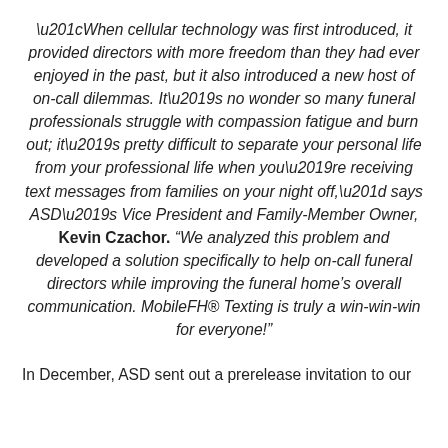“When cellular technology was first introduced, it provided directors with more freedom than they had ever enjoyed in the past, but it also introduced a new host of on-call dilemmas. It’s no wonder so many funeral professionals struggle with compassion fatigue and burn out; it’s pretty difficult to separate your personal life from your professional life when you’re receiving text messages from families on your night off,” says ASD’s Vice President and Family-Member Owner, Kevin Czachor. “We analyzed this problem and developed a solution specifically to help on-call funeral directors while improving the funeral home’s overall communication. MobileFH® Texting is truly a win-win-win for everyone!”
In December, ASD sent out a prerelease invitation to our